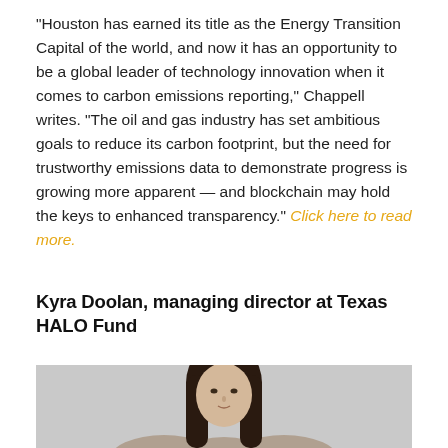"Houston has earned its title as the Energy Transition Capital of the world, and now it has an opportunity to be a global leader of technology innovation when it comes to carbon emissions reporting," Chappell writes. "The oil and gas industry has set ambitious goals to reduce its carbon footprint, but the need for trustworthy emissions data to demonstrate progress is growing more apparent — and blockchain may hold the keys to enhanced transparency." Click here to read more.
Kyra Doolan, managing director at Texas HALO Fund
[Figure (photo): Portrait photo of Kyra Doolan, a woman with long dark hair, photographed against a light gray background, visible from shoulders up.]